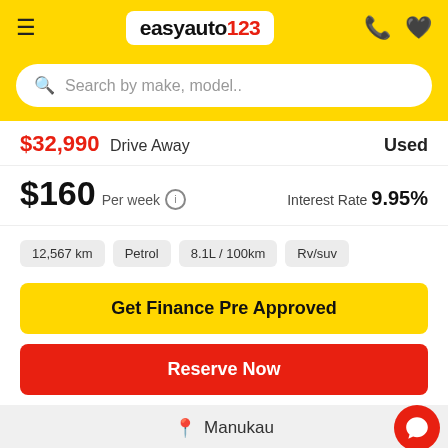[Figure (logo): easyauto123 logo in white rounded rectangle on yellow background, with hamburger menu, phone and heart icons]
Search by make, model..
$32,990 Drive Away   Used
$160 Per week (i)   Interest Rate 9.95%
12,567 km
Petrol
8.1L / 100km
Rv/suv
Get Finance Pre Approved
Reserve Now
Manukau